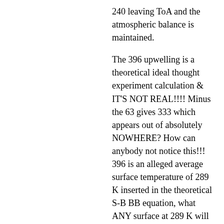240 leaving ToA and the atmospheric balance is maintained.
The 396 upwelling is a theoretical ideal thought experiment calculation & IT'S NOT REAL!!!! Minus the 63 gives 333 which appears out of absolutely NOWHERE? How can anybody not notice this!!! 396 is an alleged average surface temperature of 289 K inserted in the theoretical S-B BB equation, what ANY surface at 289 K will emit BB.
But the surface CANNOT emit as a BB because of 1) thermodynamic violations and 2) non-radiative processes of the contiguous participating media aka atmospheric molecules as demonstrated in my modest experiment.